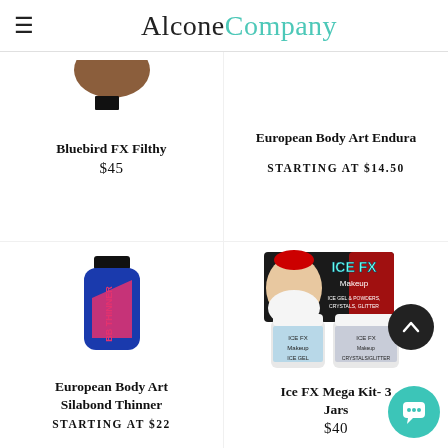AlconeCompany
[Figure (photo): Bluebird FX Filthy product - partial brown circular shape visible at top]
Bluebird FX Filthy
$45
European Body Art Endura
STARTING AT $14.50
[Figure (photo): Blue bottle with black cap labeled 'BB Thinner' in pink/red - European Body Art Silabond Thinner]
European Body Art Silabond Thinner
STARTING AT $22
[Figure (photo): Ice FX Makeup Mega Kit - 3 Jars product image showing Santa Claus and two product jars]
Ice FX Mega Kit- 3 Jars
$40